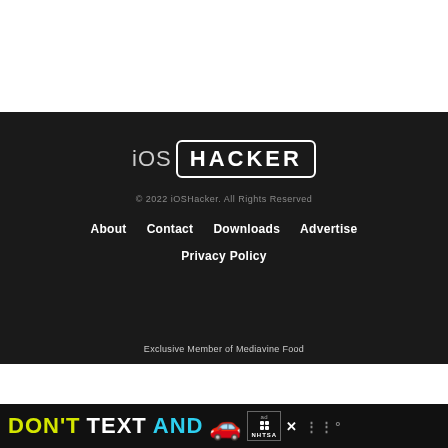[Figure (logo): iOS Hacker logo: 'iOS' in light grey and 'HACKER' in white bold uppercase inside a rounded rectangle border]
© 2022 iOSHacker. All Rights Reserved
About   Contact   Downloads   Advertise
Privacy Policy
Exclusive Member of Mediavine Food
[Figure (screenshot): Advertisement banner: DON'T TEXT AND [car emoji] ad badge with NHTSA logo and close button, weather widget on right]